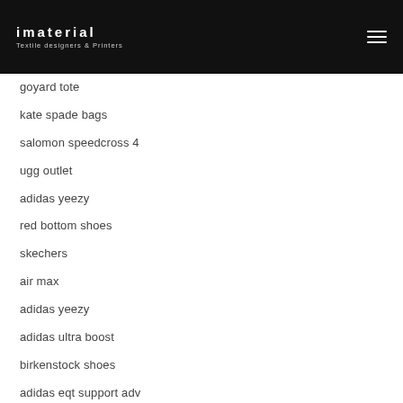imaterial — Textile designers & Printers
goyard tote
kate spade bags
salomon speedcross 4
ugg outlet
adidas yeezy
red bottom shoes
skechers
air max
adidas yeezy
adidas ultra boost
birkenstock shoes
adidas eqt support adv
ugg
lebron 16
isabel marant